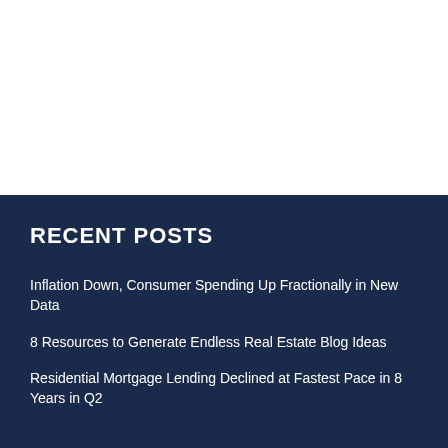RECENT POSTS
Inflation Down, Consumer Spending Up Fractionally in New Data
8 Resources to Generate Endless Real Estate Blog Ideas
Residential Mortgage Lending Declined at Fastest Pace in 8 Years in Q2